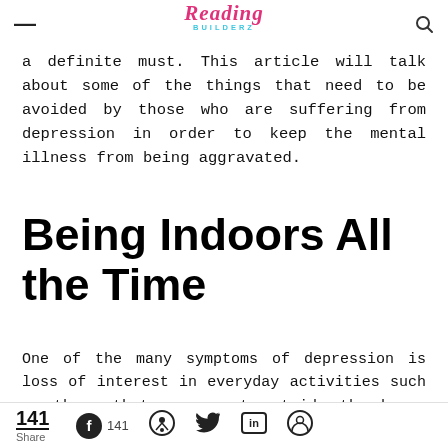Reading Builderz
a definite must. This article will talk about some of the things that need to be avoided by those who are suffering from depression in order to keep the mental illness from being aggravated.
Being Indoors All the Time
One of the many symptoms of depression is loss of interest in everyday activities such as those that are spent outside the home. Spending most of the day
141 Share  141